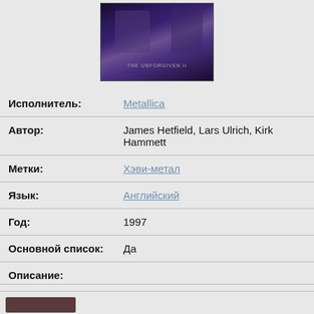[Figure (photo): Album cover image for Metallica, dark purple/blue tones with text 'THE UNFORGIVEN II' at bottom]
| Исполнитель: | Metallica |
| Автор: | James Hetfield, Lars Ulrich, Kirk Hammett |
| Метки: | Хэви-метал |
| Язык: | Английский |
| Год: | 1997 |
| Основной список: | Да |
Описание:
-